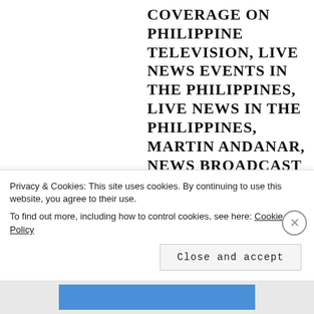COVERAGE ON PHILIPPINE TELEVISION, LIVE NEWS EVENTS IN THE PHILIPPINES, LIVE NEWS IN THE PHILIPPINES, MARTIN ANDANAR, NEWS BROADCAST ON PHILIPPINE TELEVISION, NEWS COVERAGE ON PHILIPPINE TELEVISION, NEWS ON PHILIPPINE TELEVISION, PCOO, PEOPLE'S TELEVISION NETWORK, PHILIPPINE COMMUNICATIONS OPERATIONS OFFICE, PRESIDENT RODRIGO DUTERTE, PROBLEMS OF LIVE PHILIPPINE NEWS BROADCASTS, PROBLEMS OF PHILIPPINE LIVE NEWS COVERAGE, PTV-4, PTV-4 BORROWED FEEDS, PTV-4 BORROWED FEEDS FROM OTHER NETWORKS, PTV-4 CONCERNS
Privacy & Cookies: This site uses cookies. By continuing to use this website, you agree to their use. To find out more, including how to control cookies, see here: Cookie Policy
Close and accept